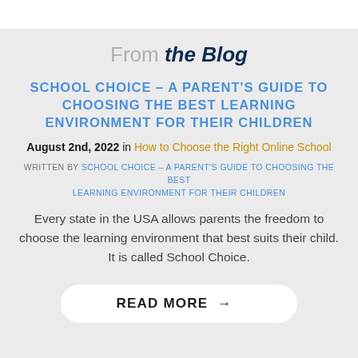From the Blog
SCHOOL CHOICE – A PARENT'S GUIDE TO CHOOSING THE BEST LEARNING ENVIRONMENT FOR THEIR CHILDREN
August 2nd, 2022 in How to Choose the Right Online School
WRITTEN BY SCHOOL CHOICE – A PARENT'S GUIDE TO CHOOSING THE BEST LEARNING ENVIRONMENT FOR THEIR CHILDREN
Every state in the USA allows parents the freedom to choose the learning environment that best suits their child. It is called School Choice.
READ MORE →